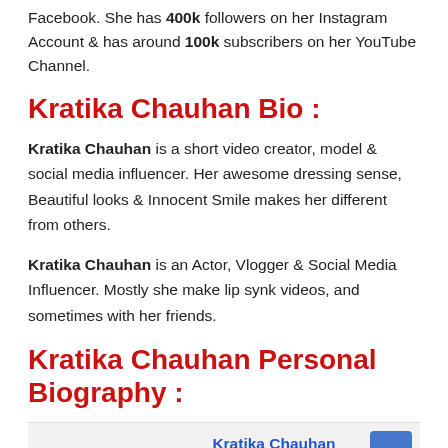Facebook. She has 400k followers on her Instagram Account & has around 100k subscribers on her YouTube Channel.
Kratika Chauhan Bio :
Kratika Chauhan is a short video creator, model & social media influencer. Her awesome dressing sense, Beautiful looks & Innocent Smile makes her different from others.
Kratika Chauhan is an Actor, Vlogger & Social Media Influencer. Mostly she make lip synk videos, and sometimes with her friends.
Kratika Chauhan Personal Biography :
|  |  |
| --- | --- |
| Real Name : | Kratika Chauhan |
| Nick Name : | Krati |